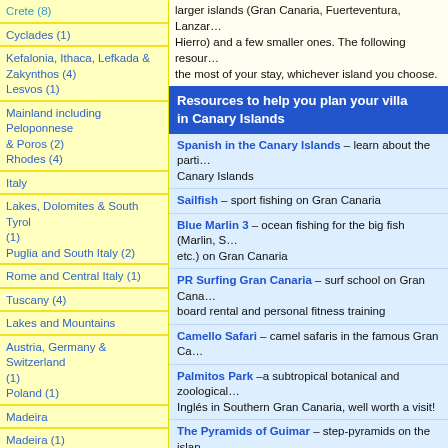Crete (8)
Cyclades (1)
Kefalonia, Ithaca, Lefkada & Zakynthos (4)
Lesvos (1)
Mainland including Peloponnese & Poros (2)
Rhodes (4)
Italy
Lakes, Dolomites & South Tyrol (1)
Puglia and South Italy (2)
Rome and Central Italy (1)
Tuscany (4)
Lakes and Mountains
Austria, Germany & Switzerland (1)
Poland (1)
Madeira
Madeira (1)
Malta and Gozo
larger islands (Gran Canaria, Fuerteventura, Lanzarote, Hierro) and a few smaller ones. The following resources help the most of your stay, whichever island you choose.
Resources to help you plan your villa in Canary Islands
Spanish in the Canary Islands – learn about the particular Spanish of the Canary Islands
Sailfish – sport fishing on Gran Canaria
Blue Marlin 3 – ocean fishing for the big fish (Marlin, Swordfish, etc.) on Gran Canaria
PR Surfing Gran Canaria – surf school on Gran Canaria offering board rental and personal fitness training
Camello Safari – camel safaris in the famous Gran Ca...
Palmitos Park – a subtropical botanical and zoological park near Ingles in Southern Gran Canaria, well worth a visit!
The Pyramids of Guimar – step-pyramids on the island, open to the public
Pueblo Torviscas – Selection of apartments on the Pu...
Other Holiday Home Sites
Spain Holiday Rentals in Sitges – Villas and apartments in the best places to stay on your summer vacations, not just the whole country. It is only 40 kms south of Barcelona (40 min).
Villa World – Quality, affordable villas in the Mediterra...